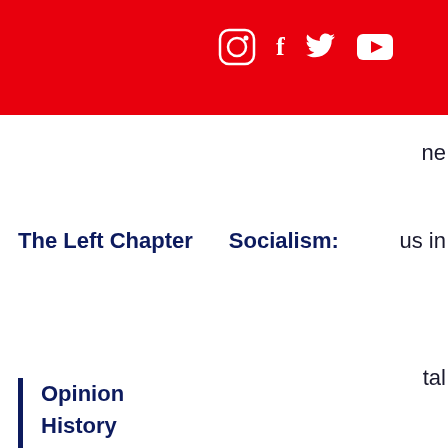Social media icons (Instagram, Facebook, Twitter, YouTube) and hamburger menu on red background header bar
The Left Chapter    Socialism:
Opinion
History
News
rights;
(2) to ensure fairness, transparency and accountability in algorithmic management in the platform